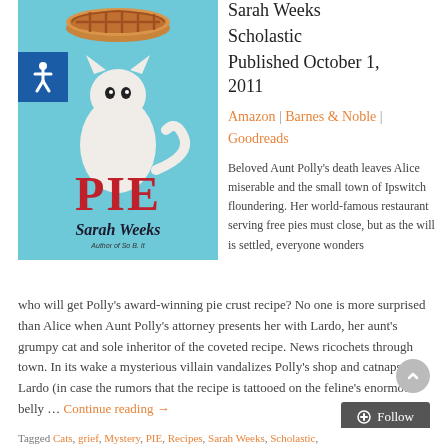[Figure (illustration): Book cover for 'Pie' by Sarah Weeks. Light blue background with a white cat sitting beneath a pie, the word PIE in large red letters, and the author name Sarah Weeks in black script below.]
Sarah Weeks
Scholastic
Published October 1, 2011
Amazon | Barnes & Noble | Goodreads
Beloved Aunt Polly's death leaves Alice miserable and the small town of Ipswitch floundering. Her world-famous restaurant serving free pies must close, but as the will is settled, everyone wonders who will get Polly's award-winning pie crust recipe? No one is more surprised than Alice when Aunt Polly's attorney presents her with Lardo, her aunt's grumpy cat and sole inheritor of the coveted recipe. News ricochets through town. In its wake a mysterious villain vandalizes Polly's shop and catnaps Lardo (in case the rumors that the recipe is tattooed on the feline's enormous belly … Continue reading →
Tagged Cats, grief, Mystery, PIE, Recipes, Sarah Weeks, Scholastic,